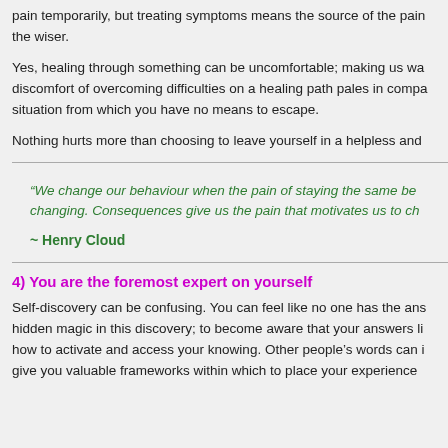pain temporarily, but treating symptoms means the source of the pain... the wiser.
Yes, healing through something can be uncomfortable; making us wa... situation from which you have no means to escape.
Nothing hurts more than choosing to leave yourself in a helpless and
“We change our behaviour when the pain of staying the same be... changing. Consequences give us the pain that motivates us to ch...
~ Henry Cloud
4) You are the foremost expert on yourself
Self-discovery can be confusing. You can feel like no one has the ans... hidden magic in this discovery; to become aware that your answers li... how to activate and access your knowing. Other people’s words can i... give you valuable frameworks within which to place your experience...